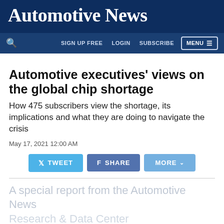Automotive News
SIGN UP FREE  LOGIN  SUBSCRIBE  MENU
Automotive executives' views on the global chip shortage
How 475 subscribers view the shortage, its implications and what they are doing to navigate the crisis
May 17, 2021 12:00 AM
TWEET  SHARE  MORE
A special report from the Automotive News Research & Data Center